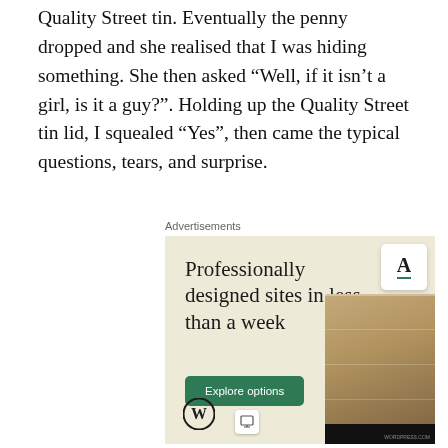Quality Street tin. Eventually the penny dropped and she realised that I was hiding something. She then asked “Well, if it isn’t a girl, is it a guy?”. Holding up the Quality Street tin lid, I squealed “Yes”, then came the typical questions, tears, and surprise.
Advertisements
[Figure (illustration): WordPress advertisement with beige/cream background. Large serif text reads 'Professionally designed sites in less than a week'. A green button labeled 'Explore options'. WordPress logo (W in circle) at bottom left. Device mockup screenshots visible on the right side showing website layouts with food images.]